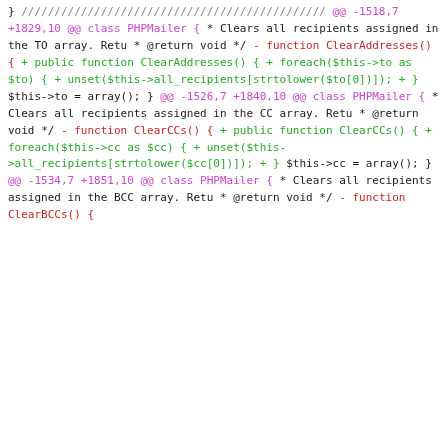} 
//////////////////////////////////////////////// 
@@ -1518,7 +1829,10 @@ class PHPMailer {
 * Clears all recipients assigned in the TO array. Retu
 * @return void
 * /
 - function ClearAddresses() {
 + public function ClearAddresses() {
 + foreach($this->to as $to) {
 + unset($this->all_recipients[strtolower($to[0])]);
 + }
 $this->to = array();
 }

@@ -1526,7 +1840,10 @@ class PHPMailer {
 * Clears all recipients assigned in the CC array. Retu
 * @return void
 * /
 - function ClearCCs() {
 + public function ClearCCs() {
 + foreach($this->cc as $cc) {
 + unset($this->all_recipients[strtolower($cc[0])]);
 + }
 $this->cc = array();
 }

@@ -1534,7 +1851,10 @@ class PHPMailer {
 * Clears all recipients assigned in the BCC array. Ret
 * @return void
 * /
 - function ClearBCCs() {